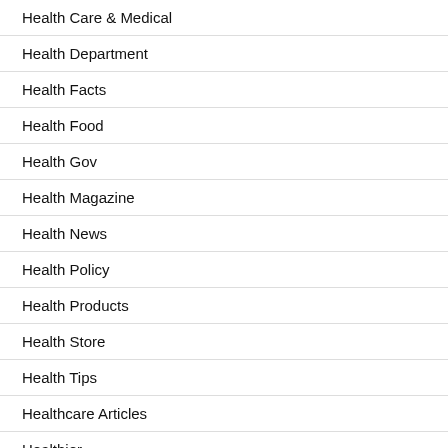Health Care & Medical
Health Department
Health Facts
Health Food
Health Gov
Health Magazine
Health News
Health Policy
Health Products
Health Store
Health Tips
Healthcare Articles
Healthier
Healthy Nutrition